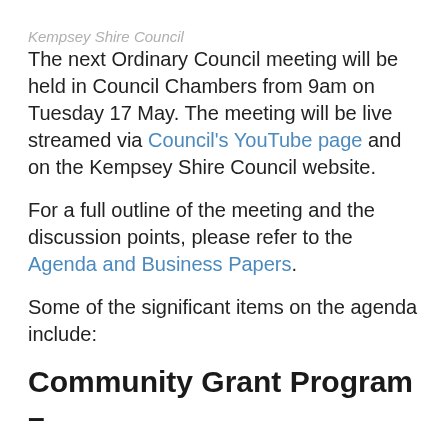Kempsey Shire Council
The next Ordinary Council meeting will be held in Council Chambers from 9am on Tuesday 17 May. The meeting will be live streamed via Council's YouTube page and on the Kempsey Shire Council website.
For a full outline of the meeting and the discussion points, please refer to the Agenda and Business Papers.
Some of the significant items on the agenda include:
Community Grant Program –